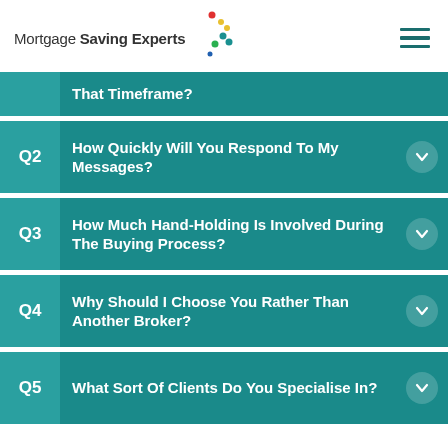Mortgage Saving Experts
That Timeframe?
Q2 How Quickly Will You Respond To My Messages?
Q3 How Much Hand-Holding Is Involved During The Buying Process?
Q4 Why Should I Choose You Rather Than Another Broker?
Q5 What Sort Of Clients Do You Specialise In?